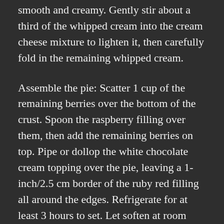smooth and creamy. Gently stir about a third of the whipped cream into the cream cheese mixture to lighten it, then carefully fold in the remaining whipped cream.
Assemble the pie: Scatter 1 cup of the remaining berries over the bottom of the crust. Spoon the raspberry filling over them, then add the remaining berries on top. Pipe or dollop the white chocolate cream topping over the pie, leaving a 1-inch/2.5 cm border of the ruby red filling all around the edges. Refrigerate for at least 3 hours to set. Let soften at room temperature for about 20 minutes before serving.